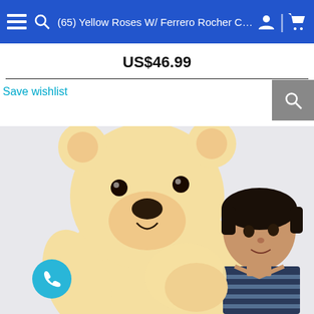(65) Yellow Roses W/ Ferrero Rocher Chocolate
US$46.99
Save wishlist
[Figure (photo): A young boy hugging a very large cream/beige stuffed teddy bear against a light background]